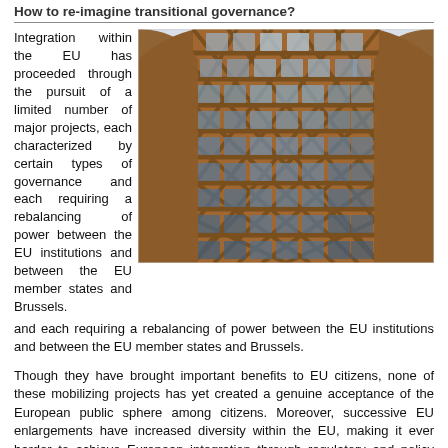How to re-imagine transitional governance?
Integration within the EU has proceeded through the pursuit of a limited number of major projects, each characterized by certain types of governance and each requiring a rebalancing of power between the EU institutions and between the EU member states and Brussels.
[Figure (photo): Upward view of a curved modern building facade with brown lattice structure and glass windows arranged in a grid pattern, showing the exterior of what appears to be a European Union institutional building.]
Though they have brought important benefits to EU citizens, none of these mobilizing projects has yet created a genuine acceptance of the European public sphere among citizens. Moreover, successive EU enlargements have increased diversity within the EU, making it ever harder to achieve European integration through regulatory and policy tools that seek to uniformize European societies.